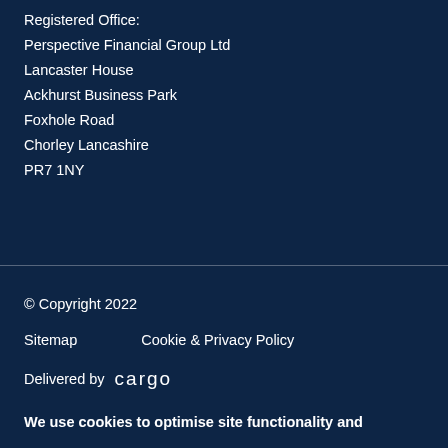Registered Office:
Perspective Financial Group Ltd
Lancaster House
Ackhurst Business Park
Foxhole Road
Chorley Lancashire
PR7 1NY
© Copyright 2022
Sitemap   Cookie & Privacy Policy
Delivered by cargo
We use cookies to optimise site functionality and